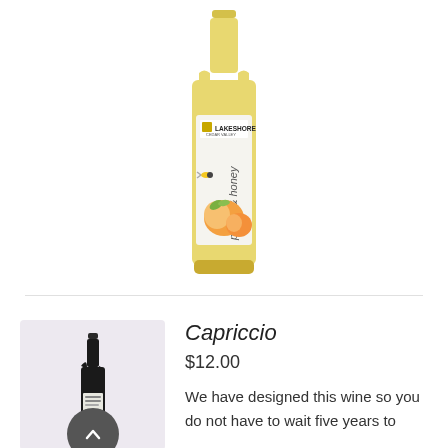[Figure (photo): A tall bottle of Lakeshore Cedar Valley Peach & Honey wine with a golden-yellow color and a label showing peaches and a bee, on a white background]
[Figure (photo): A small bottle of Capriccio wine on a light purple/lavender background with a dark circular chevron-up button overlay]
Capriccio
$12.00
We have designed this wine so you do not have to wait five years to